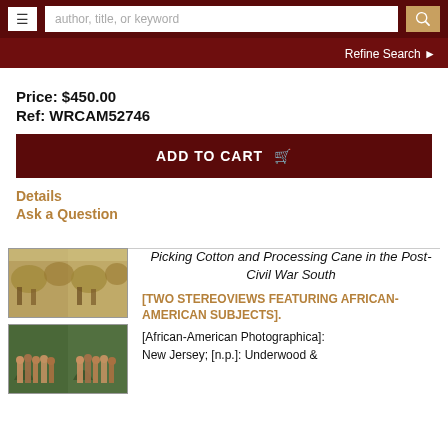author, title, or keyword | Refine Search
Price: $450.00
Ref: WRCAM52746
ADD TO CART
Details
Ask a Question
[Figure (photo): Two stereoview photographs: top shows cotton picking scene, bottom shows group of African-American subjects in a post-Civil War South setting]
Picking Cotton and Processing Cane in the Post-Civil War South
[TWO STEREOVIEWS FEATURING AFRICAN-AMERICAN SUBJECTS].
[African-American Photographica]:
New Jersey; [n.p.]: Underwood &